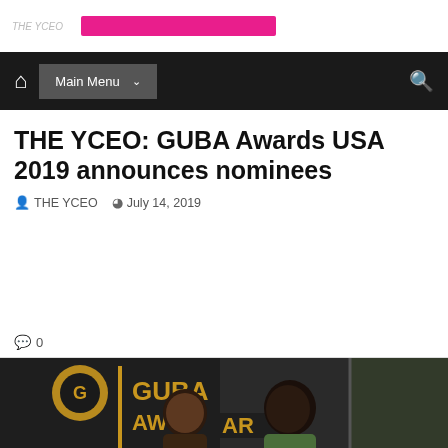Main Menu navigation bar with home icon and search icon
THE YCEO: GUBA Awards USA 2019 announces nominees
THE YCEO   July 14, 2019
0 comments
[Figure (photo): Two women posing in front of a GUBA Awards backdrop/banner. The backdrop shows the GUBA Awards logo with gold and black design.]